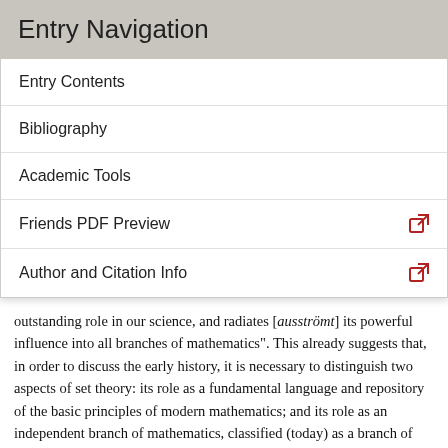Entry Navigation
Entry Contents
Bibliography
Academic Tools
Friends PDF Preview
Author and Citation Info
outstanding role in our science, and radiates [ausströmt] its powerful influence into all branches of mathematics". This already suggests that, in order to discuss the early history, it is necessary to distinguish two aspects of set theory: its role as a fundamental language and repository of the basic principles of modern mathematics; and its role as an independent branch of mathematics, classified (today) as a branch of mathematical logic. Both aspects are considered here.
The first section examines the origins and emergence of set theoretic mathematics around 1870; this is followed by